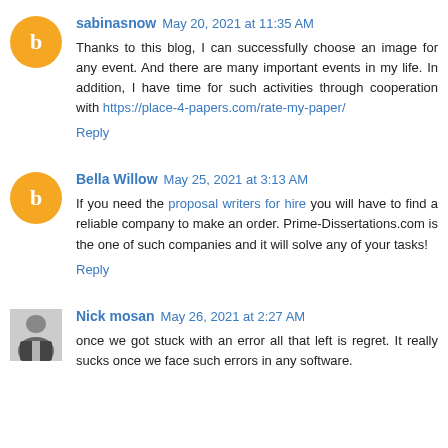sabinasnow May 20, 2021 at 11:35 AM
Thanks to this blog, I can successfully choose an image for any event. And there are many important events in my life. In addition, I have time for such activities through cooperation with https://place-4-papers.com/rate-my-paper/
Reply
Bella Willow May 25, 2021 at 3:13 AM
If you need the proposal writers for hire you will have to find a reliable company to make an order. Prime-Dissertations.com is the one of such companies and it will solve any of your tasks!
Reply
Nick mosan May 26, 2021 at 2:27 AM
once we got stuck with an error all that left is regret. It really sucks once we face such errors in any software.